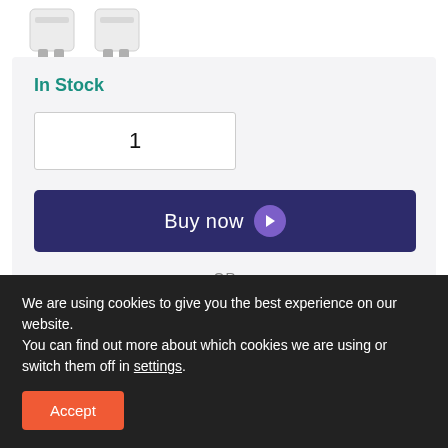[Figure (photo): Two white product images (dispensers/containers) shown partially at top of page]
In Stock
1
Buy now
— OR —
We are using cookies to give you the best experience on our website.
You can find out more about which cookies we are using or switch them off in settings.
Accept